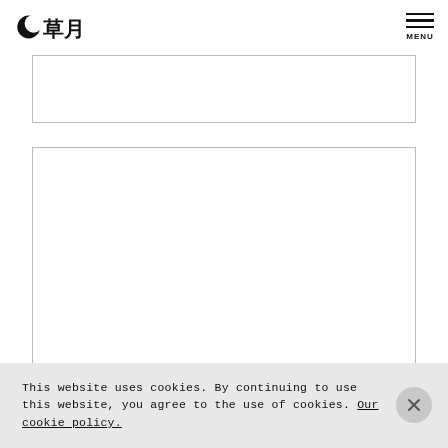草月 MENU
[Figure (other): Empty white rectangular image placeholder box 1]
[Figure (other): Empty white rectangular image placeholder box 2]
This website uses cookies. By continuing to use this website, you agree to the use of cookies. Our cookie policy.